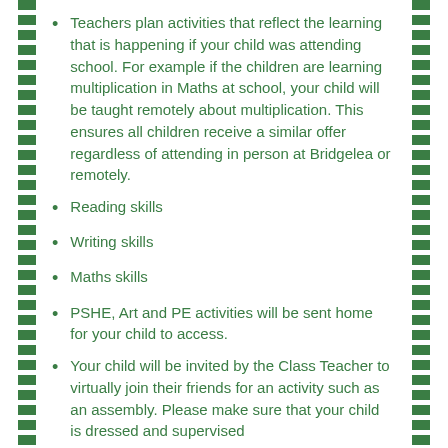Teachers plan activities that reflect the learning that is happening if your child was attending school. For example if the children are learning multiplication in Maths at school, your child will be taught remotely about multiplication. This ensures all children receive a similar offer regardless of attending in person at Bridgelea or remotely.
Reading skills
Writing skills
Maths skills
PSHE, Art and PE activities will be sent home for your child to access.
Your child will be invited by the Class Teacher to virtually join their friends for an activity such as an assembly. Please make sure that your child is dressed and supervised